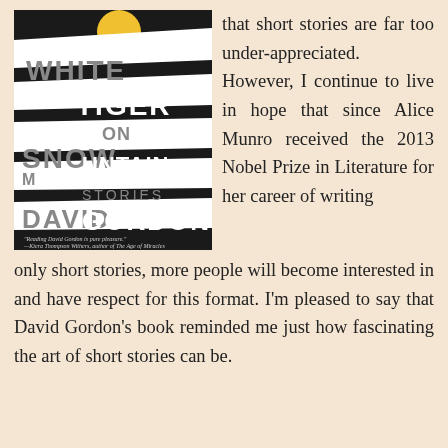[Figure (illustration): Book cover of 'White Tiger on Snow Mountain: Stories' by David Gordon. Black and white tiger stripe pattern with yellow sun at top. Small quote at bottom: 'Reading David Gordon is pure pleasure.' —Kiera Thompson Withers, author of The Age of Miracles]
that short stories are far too under-appreciated. However, I continue to live in hope that since Alice Munro received the 2013 Nobel Prize in Literature for her career of writing only short stories, more people will become interested in and have respect for this format. I'm pleased to say that David Gordon's book reminded me just how fascinating the art of short stories can be.